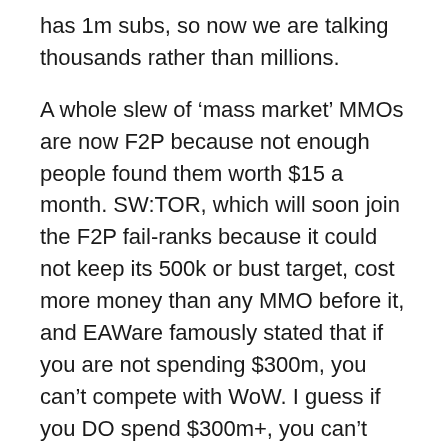has 1m subs, so now we are talking thousands rather than millions.
A whole slew of ‘mass market’ MMOs are now F2P because not enough people found them worth $15 a month. SW:TOR, which will soon join the F2P fail-ranks because it could not keep its 500k or bust target, cost more money than any MMO before it, and EAWare famously stated that if you are not spending $300m, you can’t compete with WoW. I guess if you DO spend $300m+, you can’t compete with EVE either. In fairness to EAWare EVE probably cost somewhere close to 300m to develop as well. Well 300m Yen anyway.
GW2 just launched and rewrote the whole MMO formula, including that nagging issue of having to pay to keep playing, because really, who likes paying when you can